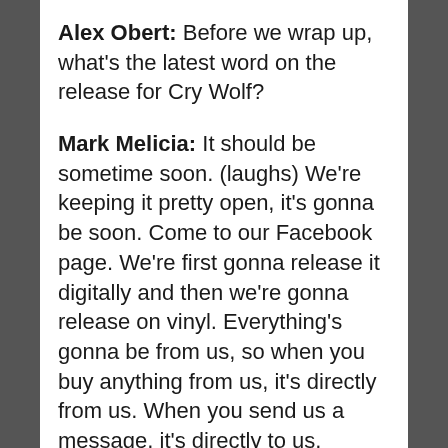Alex Obert: Before we wrap up, what's the latest word on the release for Cry Wolf?
Mark Melicia: It should be sometime soon. (laughs) We're keeping it pretty open, it's gonna be soon. Come to our Facebook page. We're first gonna release it digitally and then we're gonna release on vinyl. Everything's gonna be from us, so when you buy anything from us, it's directly from us. When you send us a message, it's directly to us. There's none of the typical buffer, red tape kind of things with other bands. I